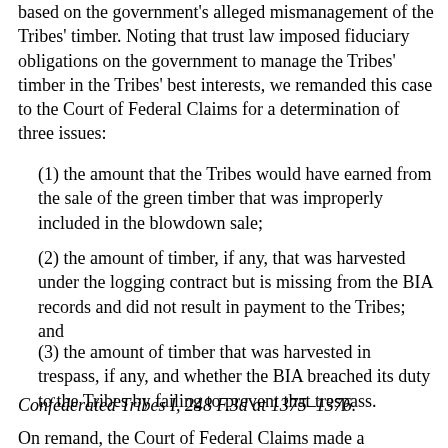based on the government's alleged mismanagement of the Tribes' timber. Noting that trust law imposed fiduciary obligations on the government to manage the Tribes' timber in the Tribes' best interests, we remanded this case to the Court of Federal Claims for a determination of three issues:
(1) the amount that the Tribes would have earned from the sale of the green timber that was improperly included in the blowdown sale;
(2) the amount of timber, if any, that was harvested under the logging contract but is missing from the BIA records and did not result in payment to the Tribes; and
(3) the amount of timber that was harvested in trespass, if any, and whether the BIA breached its duty to the Tribes by failing to prevent that trespass.
Confederated Tribes I, 248 F.3d at 1375–1376.
On remand, the Court of Federal Claims made a